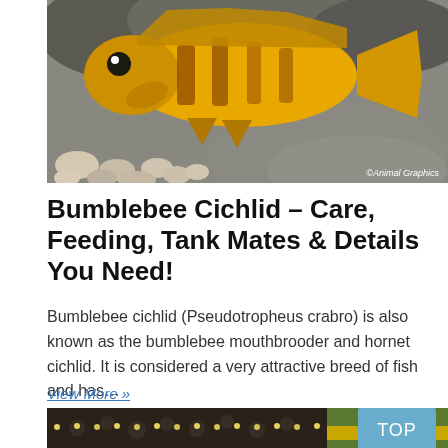[Figure (photo): A brightly colored yellow and orange Bumblebee Cichlid fish swimming above pebbles and a rock in an aquarium. Watermark reads '©Animal Graphics' in the bottom right corner.]
Bumblebee Cichlid – Care, Feeding, Tank Mates & Details You Need!
Bumblebee cichlid (Pseudotropheus crabro) is also known as the bumblebee mouthbrooder and hornet cichlid. It is considered a very attractive breed of fish and has…
View More »
[Figure (photo): Partial view of a dark-patterned fish (likely another cichlid species) with spotted/striped markings, partially visible at the bottom of the page.]